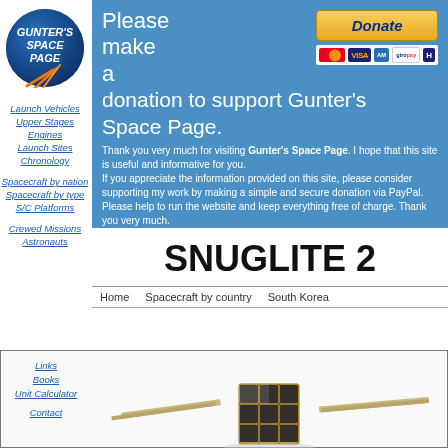[Figure (logo): Gunter's Space Page logo - circular blue logo with white italic text]
Launch Vehicles
Upper Stages
Engines
Launch Sites
Chronology
Spacecraft by nation
Spacecraft by type
S/C Platforms
Crewed Missions
Astronauts
Please make a donation to support Gunter's Space Page. Thank you very much for visiting Gunter's Space Page. I hope that this site is useful and informative for you. If you appreciate the information provided on this site, please consider supporting my work by making a simple and secure donation via PayPal. Please help to run the website and keep everything free of charge. Thank you very much.
SNUGLITE 2
Home   Spacecraft by country   South Korea
Links
Books
Unit Calculator
Contact
[Figure (photo): Small cubesat satellite with solar panels extended, gold body with black solar cells]